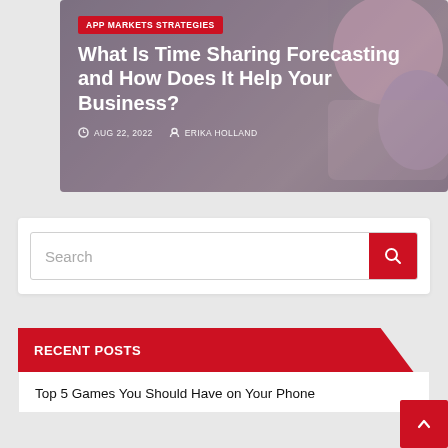[Figure (screenshot): Hero blog article card with blurred app/phone screenshot background, dark overlay, red category badge, white title and metadata]
APP MARKETS STRATEGIES
What Is Time Sharing Forecasting and How Does It Help Your Business?
AUG 22, 2022 · ERIKA HOLLAND
Search
RECENT POSTS
Top 5 Games You Should Have on Your Phone